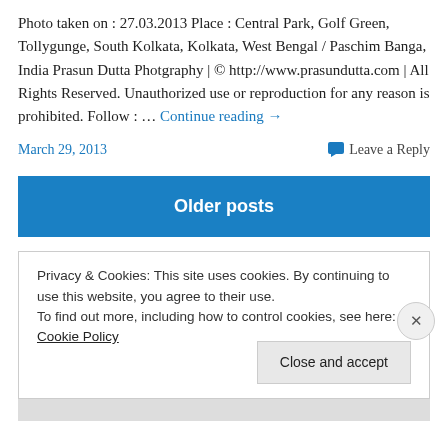Photo taken on : 27.03.2013 Place : Central Park, Golf Green, Tollygunge, South Kolkata, Kolkata, West Bengal / Paschim Banga, India Prasun Dutta Photgraphy | © http://www.prasundutta.com | All Rights Reserved. Unauthorized use or reproduction for any reason is prohibited. Follow : … Continue reading →
March 29, 2013    Leave a Reply
Older posts
Privacy & Cookies: This site uses cookies. By continuing to use this website, you agree to their use.
To find out more, including how to control cookies, see here: Cookie Policy
Close and accept